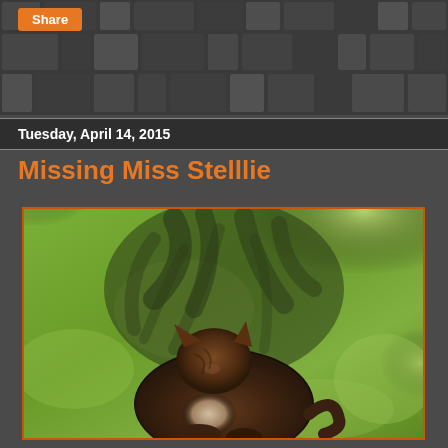[Figure (other): Dark mosaic/tile pattern background covering the page header area]
Share
Tuesday, April 14, 2015
Missing Miss Stelllie
[Figure (photo): Photo of a tabby/calico cat resting on green grass with tree shadows cast across the lawn]